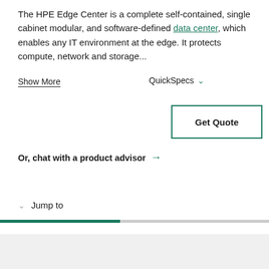The HPE Edge Center is a complete self-contained, single cabinet modular, and software-defined data center, which enables any IT environment at the edge. It protects compute, network and storage...
Show More
QuickSpecs
Get Quote
Or, chat with a product advisor →
Jump to